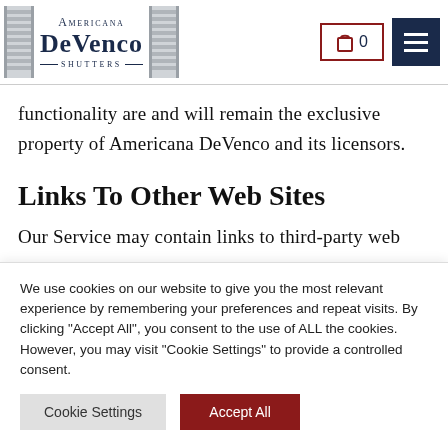Americana DeVenco Shutters – navigation header with logo, cart (0), and menu
functionality are and will remain the exclusive property of Americana DeVenco and its licensors.
Links To Other Web Sites
Our Service may contain links to third-party web
We use cookies on our website to give you the most relevant experience by remembering your preferences and repeat visits. By clicking "Accept All", you consent to the use of ALL the cookies. However, you may visit "Cookie Settings" to provide a controlled consent.